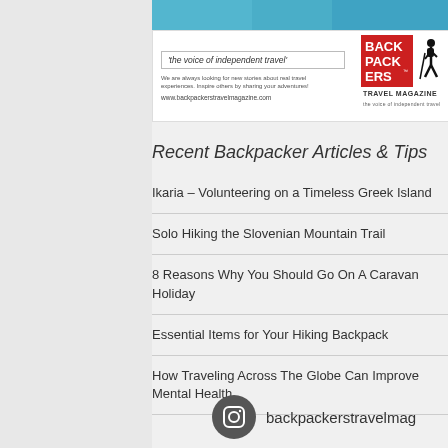[Figure (photo): Top portion of a travel photo showing blue/teal colors, partially visible]
[Figure (infographic): Backpackers Travel Magazine advertisement banner with tagline 'the voice of independent travel', body text about looking for new stories, URL www.backpackerstravelmagazine.com, and magazine logo]
Recent Backpacker Articles & Tips
Ikaria – Volunteering on a Timeless Greek Island
Solo Hiking the Slovenian Mountain Trail
8 Reasons Why You Should Go On A Caravan Holiday
Essential Items for Your Hiking Backpack
How Traveling Across The Globe Can Improve Mental Health
[Figure (logo): Instagram icon (camera in dark circle) and handle: backpackerstravelmag]